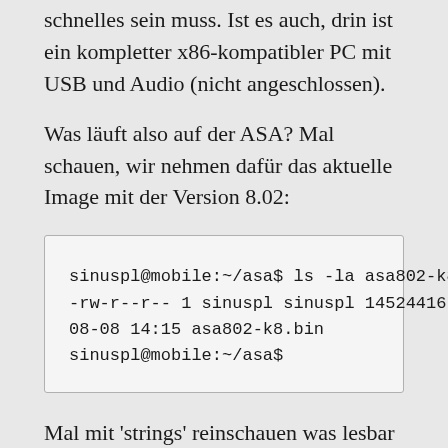schnelles sein muss. Ist es auch, drin ist ein kompletter x86-kompatibler PC mit USB und Audio (nicht angeschlossen).
Was läuft also auf der ASA? Mal schauen, wir nehmen dafür das aktuelle Image mit der Version 8.02:
sinuspl@mobile:~/asa$ ls -la asa802-k8.bin
-rw-r--r-- 1 sinuspl sinuspl 14524416 2008-08-08 14:15 asa802-k8.bin
sinuspl@mobile:~/asa$
Mal mit 'strings' reinschauen was lesbar ist (hier ein kleiner Auszug):